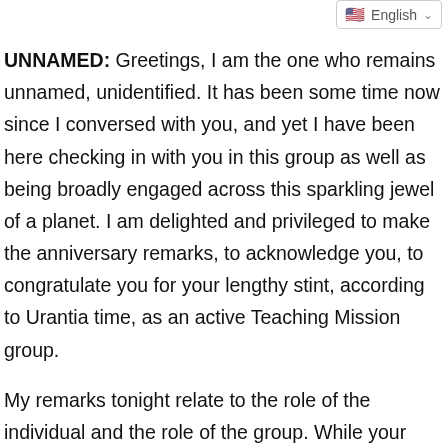English
UNNAMED: Greetings, I am the one who remains unnamed, unidentified. It has been some time now since I conversed with you, and yet I have been here checking in with you in this group as well as being broadly engaged across this sparkling jewel of a planet. I am delighted and privileged to make the anniversary remarks, to acknowledge you, to congratulate you for your lengthy stint, according to Urantia time, as an active Teaching Mission group.
My remarks tonight relate to the role of the individual and the role of the group. While your group has persisted, it has done so because of the individual wills of each of you, because of the value you place upon this experience; the courage, the fortitude